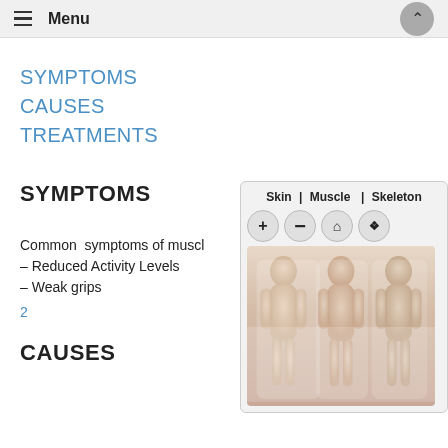Menu
SYMPTOMS
CAUSES
TREATMENTS
SYMPTOMS
Common symptoms of muscle – Reduced Activity Levels – Weak grips
2
[Figure (illustration): Interactive anatomy viewer showing Skin, Muscle, and Skeleton tabs with three human body silhouettes and zoom controls]
CAUSES